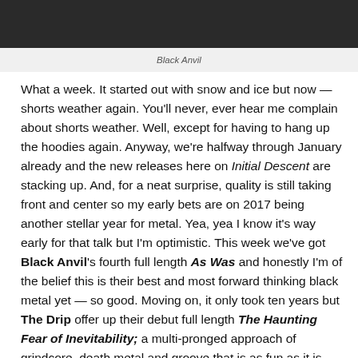[Figure (photo): Dark/black photo at top of page, possibly a band photo of Black Anvil]
Black Anvil
What a week. It started out with snow and ice but now — shorts weather again. You'll never, ever hear me complain about shorts weather. Well, except for having to hang up the hoodies again. Anyway, we're halfway through January already and the new releases here on Initial Descent are stacking up. And, for a neat surprise, quality is still taking front and center so my early bets are on 2017 being another stellar year for metal. Yea, yea I know it's way early for that talk but I'm optimistic. This week we've got Black Anvil's fourth full length As Was and honestly I'm of the belief this is their best and most forward thinking black metal yet — so good. Moving on, it only took ten years but The Drip offer up their debut full length The Haunting Fear of Inevitability; a multi-pronged approach of grindcore, death metal and groove that is as fun as it is well produced. Finally, Shaarimoth return with their long awaited second full length of extremely well executed blackened death